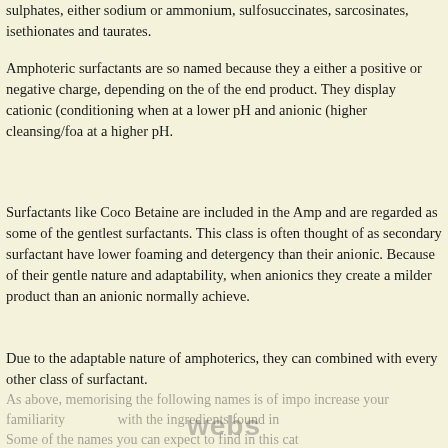sulphates, either sodium or ammonium, sulfosuccinates, sarcosinates, isethionates and taurates.
Amphoteric surfactants are so named because they a either a positive or negative charge, depending on the of the end product. They display cationic (conditioning when at a lower pH and anionic (higher cleansing/foa at a higher pH.
Surfactants like Coco Betaine are included in the Amp and are regarded as some of the gentlest surfactants. This class is often thought of as secondary surfactant have lower foaming and detergency than their anionic. Because of their gentle nature and adaptability, when anionics they create a milder product than an anionic normally achieve.
Due to the adaptable nature of amphoterics, they can combined with every other class of surfactant.
As above, memorising the following names is of impo increase your familiarity with the ingredients found in Some of the names you can expect to find in this cat
[Figure (logo): Webs watermark logo]